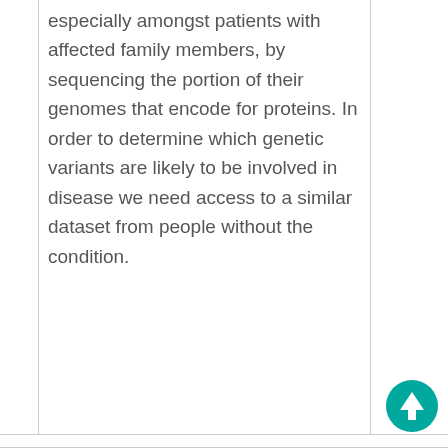especially amongst patients with affected family members, by sequencing the portion of their genomes that encode for proteins. In order to determine which genetic variants are likely to be involved in disease we need access to a similar dataset from people without the condition.
[Figure (other): Teal circular up-arrow navigation button in the bottom-right corner of the cell]